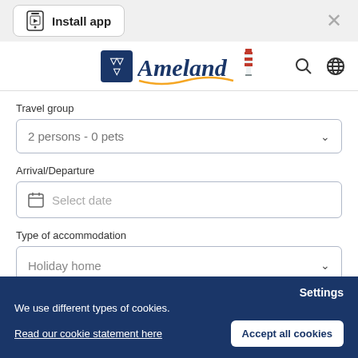[Figure (screenshot): Install app banner with phone icon and close button]
[Figure (logo): VVV Ameland logo with lighthouse graphic and search/globe icons]
Travel group
2 persons - 0 pets
Arrival/Departure
Select date
Type of accommodation
Holiday home
Settings
We use different types of cookies.
Read our cookie statement here
Accept all cookies